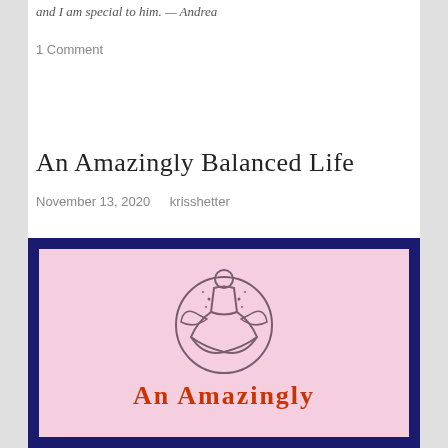and I am special to him. — Andrea
1 Comment
An Amazingly Balanced Life
November 13, 2020   krisshetter
[Figure (illustration): Pink background with navy border illustration showing a person meditating in lotus position surrounded by leaf/plant motifs inside a circle, with text 'An Amazingly' below in bold red cursive font.]